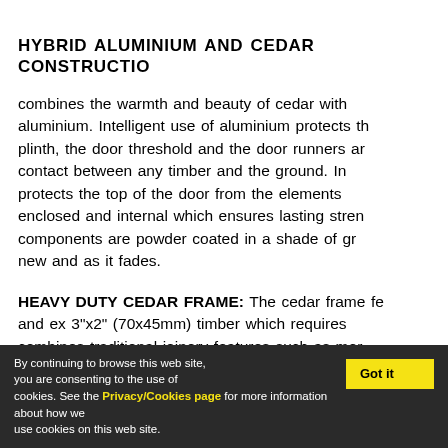HYBRID ALUMINIUM AND CEDAR CONSTRUCTION
combines the warmth and beauty of cedar with aluminium. Intelligent use of aluminium protects the plinth, the door threshold and the door runners are contact between any timber and the ground. In protects the top of the door from the elements enclosed and internal which ensures lasting strength components are powder coated in a shade of grey new and as it fades.
HEAVY DUTY CEDAR FRAME: The cedar frame features and ex 3"x2" (70x45mm) timber which requires combines traditional joinery features such as mortise and production techniques to ensure great strength and with a colourless preservative which provides a
By continuing to browse this web site, you are consenting to the use of cookies. See the Privacy/Cookies page for more information about how we use cookies on this web site.